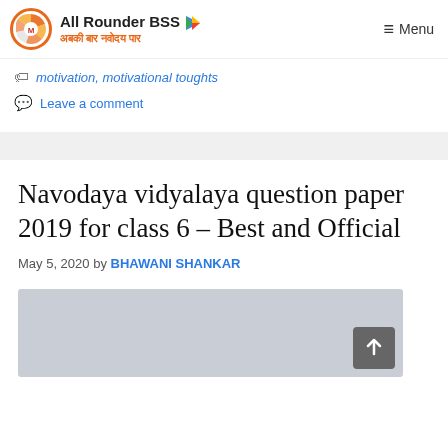All Rounder BSS | अबकी बार नवोदय पार | Menu
motivation, motivational toughts
Leave a comment
Navodaya vidyalaya question paper 2019 for class 6 – Best and Official
May 5, 2020 by BHAWANI SHANKAR
[Figure (photo): Gray placeholder image for the article content]